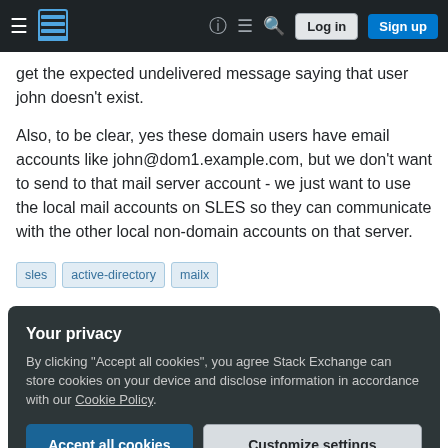Stack Exchange navigation bar with Log in and Sign up buttons
get the expected undelivered message saying that user john doesn't exist.
Also, to be clear, yes these domain users have email accounts like john@dom1.example.com, but we don't want to send to that mail server account - we just want to use the local mail accounts on SLES so they can communicate with the other local non-domain accounts on that server.
sles
active-directory
mailx
Your privacy
By clicking "Accept all cookies", you agree Stack Exchange can store cookies on your device and disclose information in accordance with our Cookie Policy.
Accept all cookies | Customize settings
749 ● 1 ● 7 ● 12